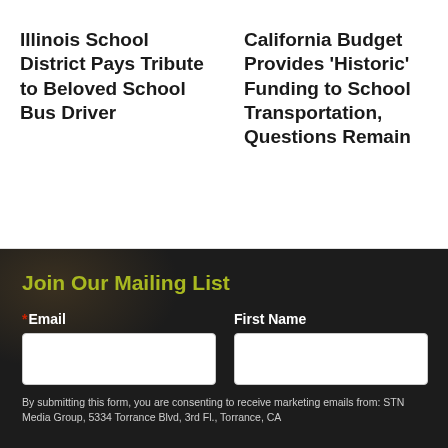Illinois School District Pays Tribute to Beloved School Bus Driver
California Budget Provides 'Historic' Funding to School Transportation, Questions Remain
Join Our Mailing List
*Email
First Name
By submitting this form, you are consenting to receive marketing emails from: STN Media Group, 5334 Torrance Blvd, 3rd Fl., Torrance, CA